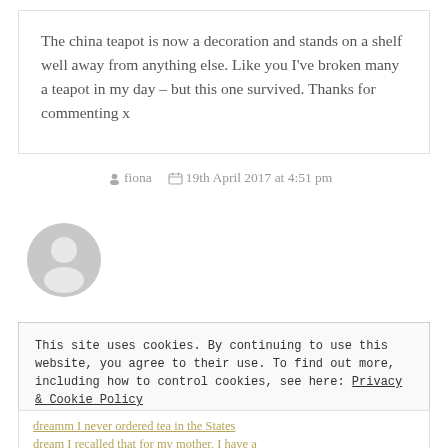The china teapot is now a decoration and stands on a shelf well away from anything else. Like you I've broken many a teapot in my day – but this one survived. Thanks for commenting x
fiona   19th April 2017 at 4:51 pm
[Figure (illustration): Grey circular avatar/user icon showing a generic person silhouette]
This site uses cookies. By continuing to use this website, you agree to their use. To find out more, including how to control cookies, see here: Privacy & Cookie Policy
Close and accept
dreamm I never ordered tea in the States